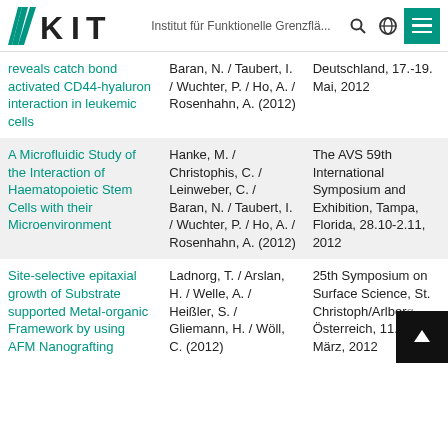KIT — Institut für Funktionelle Grenzflä...
| Title | Authors | Venue |
| --- | --- | --- |
| reveals catch bond activated CD44-hyaluron interaction in leukemic cells | Baran, N. / Taubert, I. / Wuchter, P. / Ho, A. / Rosenhahn, A. (2012) | Deutschland, 17.-19. Mai, 2012 |
| A Microfluidic Study of the Interaction of Haematopoietic Stem Cells with their Microenvironment | Hanke, M. / Christophis, C. / Leinweber, C. / Baran, N. / Taubert, I. / Wuchter, P. / Ho, A. / Rosenhahn, A. (2012) | The AVS 59th International Symposium and Exhibition, Tampa, Florida, 28.10-2.11, 2012 |
| Site-selective epitaxial growth of Substrate supported Metal-organic Framework by using AFM Nanografting | Ladnorg, T. / Arslan, H. / Welle, A. / Heißler, S. / Gliemann, H. / Wöll, C. (2012) | 25th Symposium on Surface Science, St. Christoph/Arlberg, Österreich, 11.-17. März, 2012 |